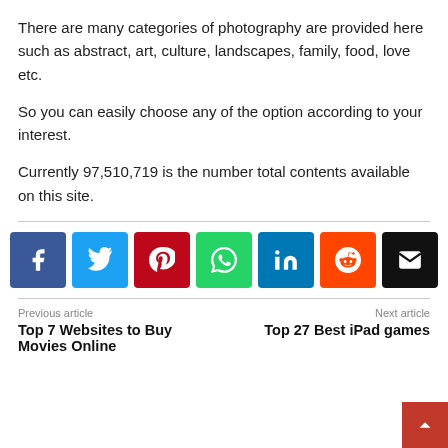There are many categories of photography are provided here such as abstract, art, culture, landscapes, family, food, love etc.
So you can easily choose any of the option according to your interest.
Currently 97,510,719 is the number total contents available on this site.
[Figure (infographic): Row of 7 social share buttons: Facebook (blue), Twitter (light blue), Pinterest (red), WhatsApp (green), LinkedIn (dark blue), Reddit (orange), Email (black)]
Previous article
Top 7 Websites to Buy Movies Online
Next article
Top 27 Best iPad games